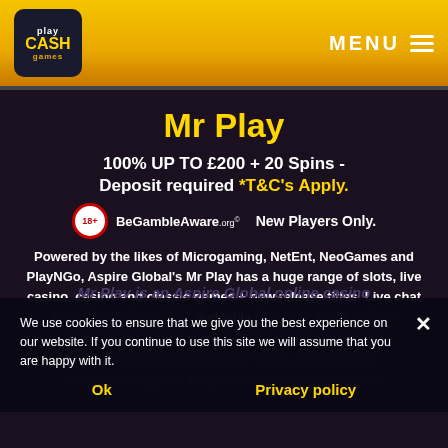Play Cash Games — MENU
Mr Play
100% UP TO £200 + 20 Spins - Deposit required *T&C's Apply.
18+ BeGambleAware.org  New Players Only.
Powered by the likes of Microgaming, NetEnt, NeoGames and PlayNGo, Aspire Global's Mr Play has a huge range of slots, live casino, casino and classic games + new release titles. Live chat available
Mr Play is an Aspire Global online casino established in 2017. Access the very best online slots and casino games from many software providers including Play N Go, NetEnt and Microgaming. Mr Play recently introduced its
We use cookies to ensure that we give you the best experience on our website. If you continue to use this site we will assume that you are happy with it.
Ok    Privacy policy